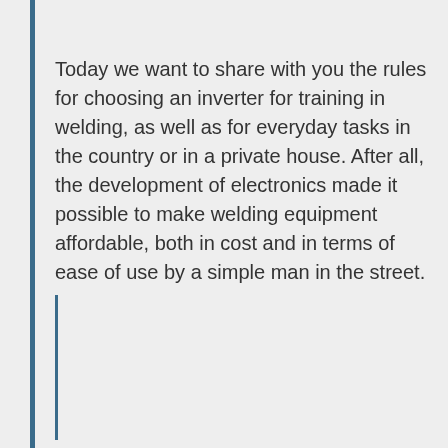Today we want to share with you the rules for choosing an inverter for training in welding, as well as for everyday tasks in the country or in a private house. After all, the development of electronics made it possible to make welding equipment affordable, both in cost and in terms of ease of use by a simple man in the street.